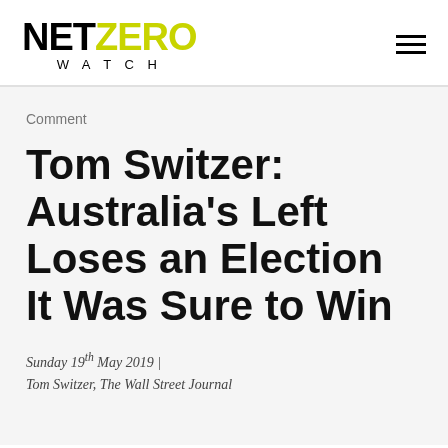NET ZERO WATCH
Comment
Tom Switzer: Australia's Left Loses an Election It Was Sure to Win
Sunday 19th May 2019 | Tom Switzer, The Wall Street Journal